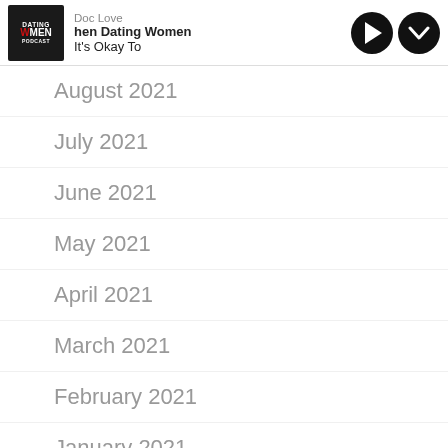Doc Love | When Dating Women | It's Okay To...
August 2021
July 2021
June 2021
May 2021
April 2021
March 2021
February 2021
January 2021
December 2020